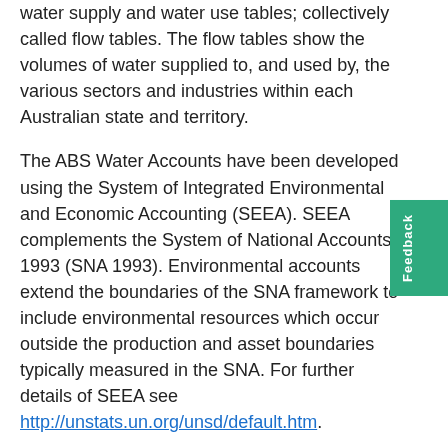water supply and water use tables; collectively called flow tables. The flow tables show the volumes of water supplied to, and used by, the various sectors and industries within each Australian state and territory.
The ABS Water Accounts have been developed using the System of Integrated Environmental and Economic Accounting (SEEA). SEEA complements the System of National Accounts 1993 (SNA 1993). Environmental accounts extend the boundaries of the SNA framework to include environmental resources which occur outside the production and asset boundaries typically measured in the SNA. For further details of SEEA see http://unstats.un.org/unsd/default.htm.